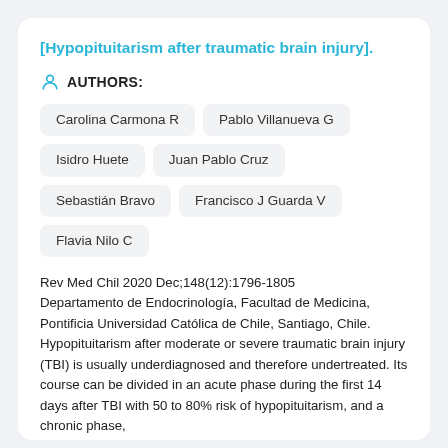[Hypopituitarism after traumatic brain injury].
AUTHORS:
Carolina Carmona R
Pablo Villanueva G
Isidro Huete
Juan Pablo Cruz
Sebastián Bravo
Francisco J Guarda V
Flavia Nilo C
Rev Med Chil 2020 Dec;148(12):1796-1805
Departamento de Endocrinología, Facultad de Medicina, Pontificia Universidad Católica de Chile, Santiago, Chile. Hypopituitarism after moderate or severe traumatic brain injury (TBI) is usually underdiagnosed and therefore undertreated. Its course can be divided in an acute phase during the first 14 days after TBI with 50 to 80% risk of hypopituitarism, and a chronic phase,